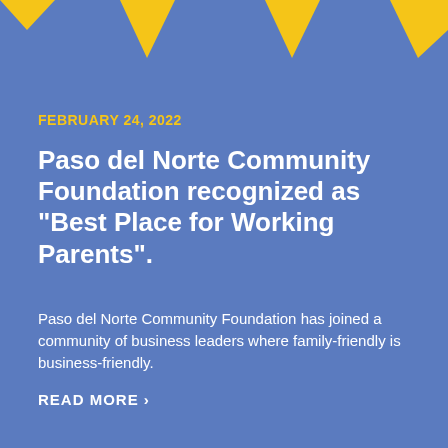[Figure (illustration): Decorative banner triangles/pennants in gold/yellow on a blue background at the top of the card]
FEBRUARY 24, 2022
Paso del Norte Community Foundation recognized as "Best Place for Working Parents".
Paso del Norte Community Foundation has joined a community of business leaders where family-friendly is business-friendly.
READ MORE >